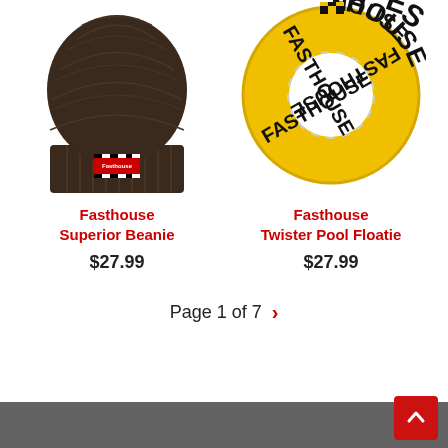[Figure (photo): Fasthouse Superior Beanie - dark brown knit beanie with Fasthouse logo patch]
Fasthouse
Superior Beanie
$27.99
[Figure (photo): Fasthouse Twister Pool Floatie - yellow inflatable pool ring with FASTHOUSE text]
Fasthouse
Twister Pool Floatie
$27.99
Page 1 of 7 >